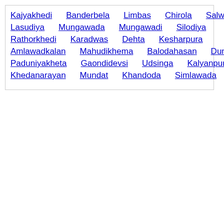Kajyakhedi  Banderbela  Limbas  Chirola  Salwa
Lasudiya  Mungawada  Mungawadi  Silodiya
Rathorkhedi  Karadwas  Dehta  Kesharpura
Amlawadkalan  Mahudikhema  Balodahasan  Dunalja
Paduniyakheta  Gaondidevsi  Udsinga  Kalyanpura
Khedanarayan  Mundat  Khandoda  Simlawada